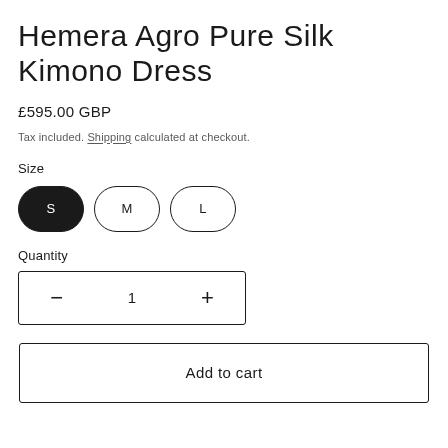Hemera Agro Pure Silk Kimono Dress
£595.00 GBP
Tax included. Shipping calculated at checkout.
Size
S  M  L
Quantity
− 1 +
Add to cart